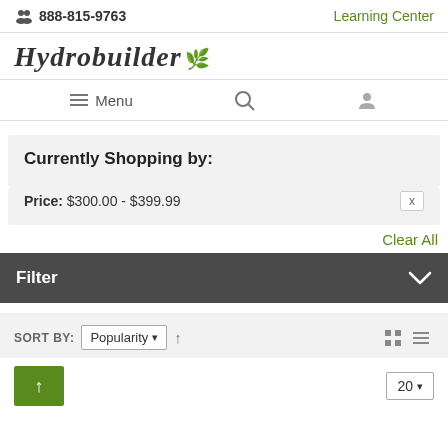888-815-9763   Learning Center
[Figure (logo): Hydrobuilder logo with cursive script and leaf icon]
Menu [hamburger icon] [search icon] [user icon]
Currently Shopping by:
Price: $300.00 - $399.99  x
Clear All
Filter
SORT BY: Popularity ↑  [grid icon] [list icon]
↑ [green button]   20 ▾